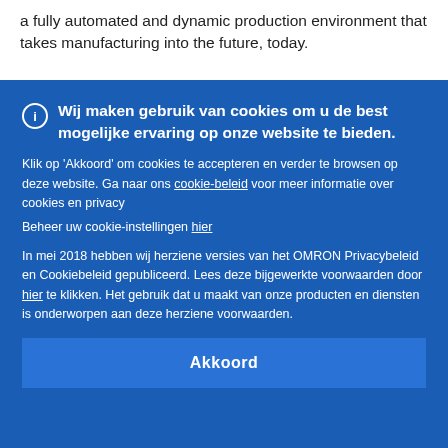a fully automated and dynamic production environment that takes manufacturing into the future, today.
This article is part of the Omron's series of publications ...
Wij maken gebruik van cookies om u de best mogelijke ervaring op onze website te bieden.
Klik op 'Akkoord' om cookies te accepteren en verder te browsen op deze website. Ga naar ons cookie-beleid voor meer informatie over cookies en privacy
Beheer uw cookie-instellingen hier

In mei 2018 hebben wij herziene versies van het OMRON Privacybeleid en Cookiebeleid gepubliceerd. Lees deze bijgewerkte voorwaarden door hier te klikken. Het gebruik dat u maakt van onze producten en diensten is onderworpen aan deze herziene voorwaarden.
Akkoord